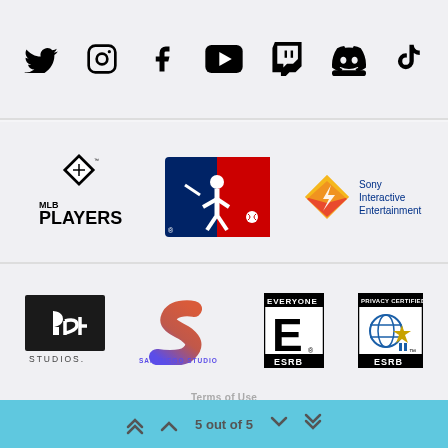[Figure (logo): Row of social media icons: Twitter, Instagram, Facebook, YouTube, Twitch, Discord, TikTok]
[Figure (logo): Partner logos row 1: MLBPA Players, MLB, Sony Interactive Entertainment]
[Figure (logo): Partner logos row 2: PlayStation Studios, San Diego Studio, ESRB Everyone, ESRB Privacy Certified]
Terms of Use
5 out of 5